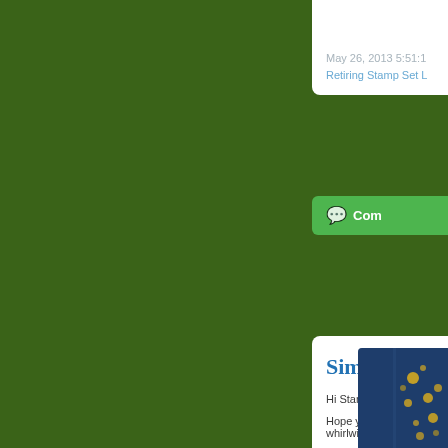May 26, 2013 5:51:1
Retiring Stamp Set L
Com
Simply Sk
Hi Stampin' Friends
Hope you are enjoy whirlwind 2 1/2 we
Today's card featur Ginger Garden De
[Figure (photo): Partial view of a handmade card with dark navy background and yellow/gold floral or botanical design elements, positioned in bottom right]